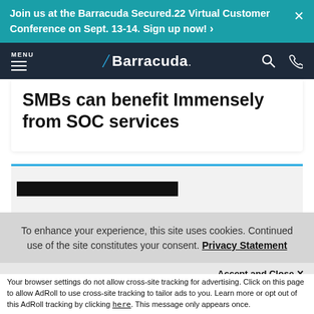Join us at the Barracuda Secured.22 Virtual Customer Conference on Sept. 13-14. Sign up now! ›
MENU — Barracuda logo — search and phone icons
SMBs can benefit Immensely from SOC services
[Figure (screenshot): Article area with blue top border and a black redacted bar below]
To enhance your experience, this site uses cookies. Continued use of the site constitutes your consent. Privacy Statement
Accept and Close ✕
Your browser settings do not allow cross-site tracking for advertising. Click on this page to allow AdRoll to use cross-site tracking to tailor ads to you. Learn more or opt out of this AdRoll tracking by clicking here. This message only appears once.